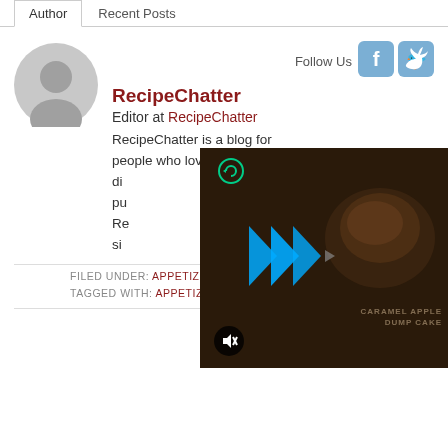Author | Recent Posts
[Figure (illustration): Gray circular avatar placeholder with silhouette of a person]
Follow Us
[Figure (logo): Facebook icon button (blue-gray rounded square)]
[Figure (logo): Twitter icon button (blue-gray rounded square)]
RecipeChatter
Editor at RecipeChatter
RecipeChatter is a blog for people who love food and want to discover, share, and publish recipes. RecipeChatter has been sinc…
[Figure (screenshot): Video overlay showing Caramel Apple Dump Cake with play button, mute button, and cyan arrow logo]
FILED UNDER: APPETIZERS
TAGGED WITH: APPETIZERS, DEVILED EGGS, EGG RECIPES